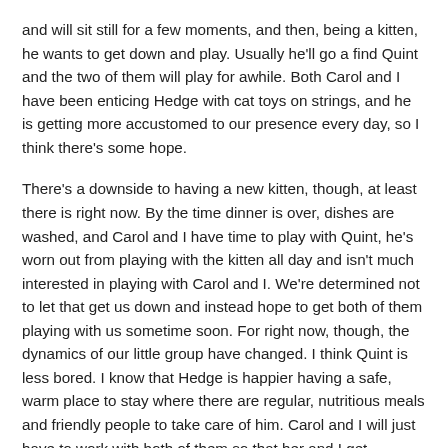and will sit still for a few moments, and then, being a kitten, he wants to get down and play. Usually he'll go a find Quint and the two of them will play for awhile. Both Carol and I have been enticing Hedge with cat toys on strings, and he is getting more accustomed to our presence every day, so I think there's some hope.
There's a downside to having a new kitten, though, at least there is right now. By the time dinner is over, dishes are washed, and Carol and I have time to play with Quint, he's worn out from playing with the kitten all day and isn't much interested in playing with Carol and I. We're determined not to let that get us down and instead hope to get both of them playing with us sometime soon. For right now, though, the dynamics of our little group have changed. I think Quint is less bored. I know that Hedge is happier having a safe, warm place to stay where there are regular, nutritious meals and friendly people to take care of him. Carol and I will just have to work with both of them so that her and I get included in the new cat group as playmates. In the meantime, it is truly delightful to watch Quint and Hedge as they learn to live and play together.